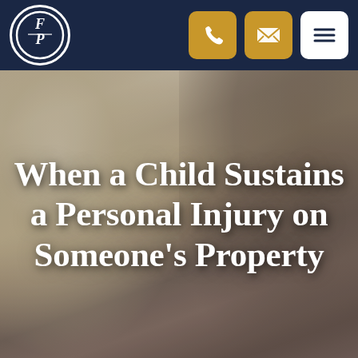FP Law Firm – header navigation with logo, phone, email, and menu icons
[Figure (photo): Close-up photograph of two children (a blonde girl and a dark-haired child) with a semi-transparent overlay, serving as hero image background]
When a Child Sustains a Personal Injury on Someone's Property